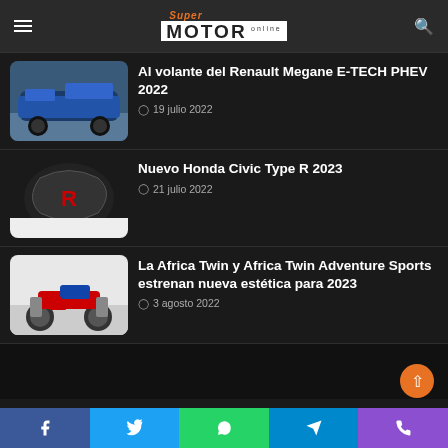Super Motor Online
[Figure (photo): Thumbnail of blue Renault Megane E-TECH PHEV 2022 in a parking lot]
Al volante del Renault Megane E-TECH PHEV 2022
19 julio 2022
[Figure (photo): Thumbnail of Honda Civic Type R 2023 badge/grille closeup]
Nuevo Honda Civic Type R 2023
21 julio 2022
[Figure (photo): Thumbnail of Honda Africa Twin adventure motorcycle]
La Africa Twin y Africa Twin Adventure Sports estrenan nueva estética para 2023
3 agosto 2022
Facebook | Twitter | WhatsApp | Telegram | Phone